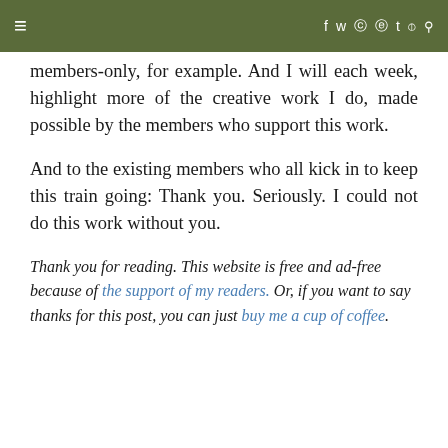≡  f  y  ⊙  ⊕  t  )))  Q
members-only, for example. And I will each week, highlight more of the creative work I do, made possible by the members who support this work.
And to the existing members who all kick in to keep this train going: Thank you. Seriously. I could not do this work without you.
Thank you for reading. This website is free and ad-free because of the support of my readers. Or, if you want to say thanks for this post, you can just buy me a cup of coffee.